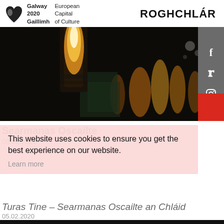Galway 2020 Gaillimh European Capital of Culture — ROGHCHLÁR
[Figure (photo): Dark nighttime photo showing fire torches and flames with bokeh light effects in the background]
Searmanas Oscailte
08.02.2020
This website uses cookies to ensure you get the best experience on our website.
Learn more
Turas Tine – Searmanas Oscailte an Chláid
05.02.2020
GOT IT!